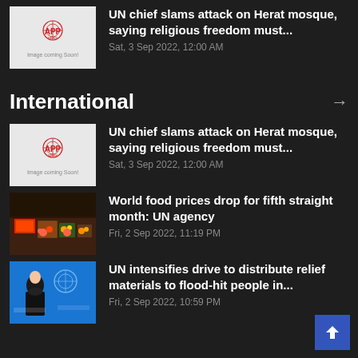[Figure (screenshot): APP News logo placeholder thumbnail]
UN chief slams attack on Herat mosque, saying religious freedom must...
Sat, 3 Sep 2022, 12:00 AM
International
[Figure (screenshot): APP News logo placeholder thumbnail]
UN chief slams attack on Herat mosque, saying religious freedom must...
Sat, 3 Sep 2022, 12:00 AM
[Figure (photo): Photo of produce/food market with boxes of tomatoes and other vegetables]
World food prices drop for fifth straight month: UN agency
Fri, 2 Sep 2022, 11:19 PM
[Figure (photo): Photo of a person speaking at UN podium with blue UN background]
UN intensifies drive to distribute relief materials to flood-hit people in...
Fri, 2 Sep 2022, 10:59 PM